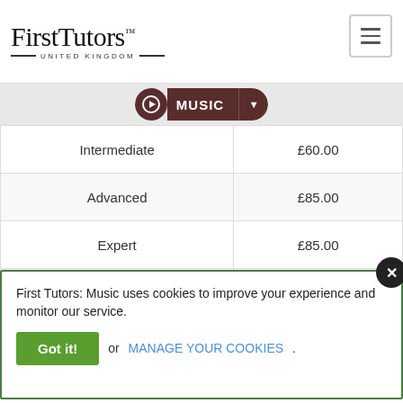FirstTutors™ UNITED KINGDOM
MUSIC
|  | Hourly Fee |
| --- | --- |
| Intermediate | £60.00 |
| Advanced | £85.00 |
| Expert | £85.00 |
| Music Theory | Hourly Fee |
| Beginner | £50.00 |
| Intermediate | £50.00 |
First Tutors: Music uses cookies to improve your experience and monitor our service.